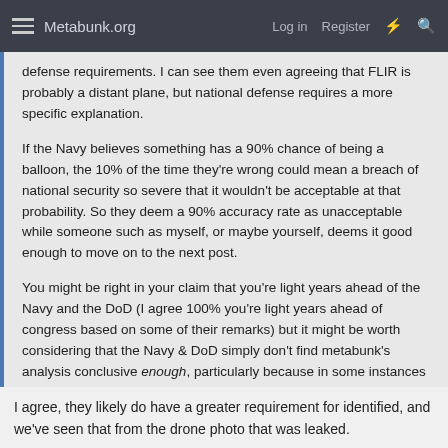Metabunk.org  Log in  Register
defense requirements. I can see them even agreeing that FLIR is probably a distant plane, but national defense requires a more specific explanation.
If the Navy believes something has a 90% chance of being a balloon, the 10% of the time they're wrong could mean a breach of national security so severe that it wouldn't be acceptable at that probability. So they deem a 90% accuracy rate as unacceptable while someone such as myself, or maybe yourself, deems it good enough to move on to the next post.
You might be right in your claim that you're light years ahead of the Navy and the DoD (I agree 100% you're light years ahead of congress based on some of their remarks) but it might be worth considering that the Navy & DoD simply don't find metabunk's analysis conclusive enough, particularly because in some instances the military might be privy to classified data (which they allude to in the hearings) that you or I unfortunately can't consider.
I agree, they likely do have a greater requirement for identified, and we've seen that from the drone photo that was leaked.